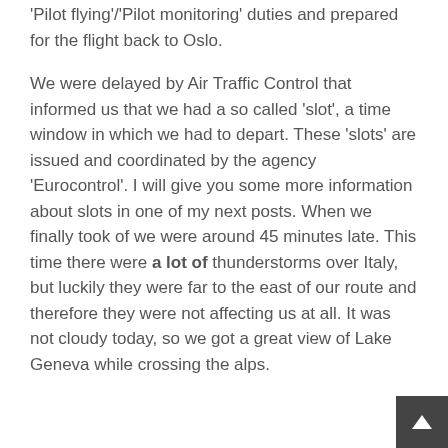'Pilot flying'/'Pilot monitoring' duties and prepared for the flight back to Oslo.
We were delayed by Air Traffic Control that informed us that we had a so called 'slot', a time window in which we had to depart. These 'slots' are issued and coordinated by the agency 'Eurocontrol'. I will give you some more information about slots in one of my next posts. When we finally took of we were around 45 minutes late. This time there were a lot of thunderstorms over Italy, but luckily they were far to the east of our route and therefore they were not affecting us at all. It was not cloudy today, so we got a great view of Lake Geneva while crossing the alps.